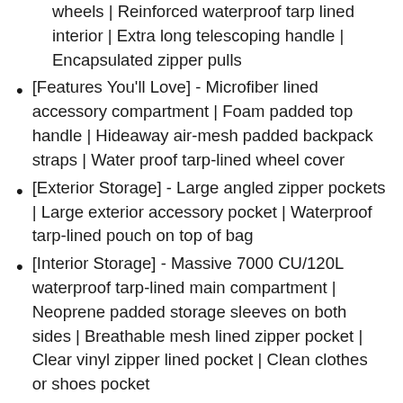wheels | Reinforced waterproof tarp lined interior | Extra long telescoping handle | Encapsulated zipper pulls
[Features You'll Love] - Microfiber lined accessory compartment | Foam padded top handle | Hideaway air-mesh padded backpack straps | Water proof tarp-lined wheel cover
[Exterior Storage] - Large angled zipper pockets | Large exterior accessory pocket | Waterproof tarp-lined pouch on top of bag
[Interior Storage] - Massive 7000 CU/120L waterproof tarp-lined main compartment | Neoprene padded storage sleeves on both sides | Breathable mesh lined zipper pocket | Clear vinyl zipper lined pocket | Clean clothes or shoes pocket
[Action Sport Friendly] - The High Roller is